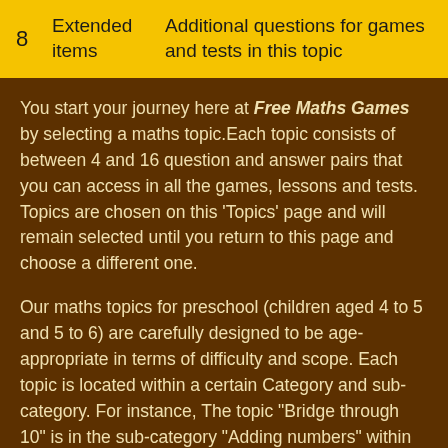|  | Extended items | Additional questions for games and tests in this topic |
| --- | --- | --- |
| 8 | Extended items | Additional questions for games and tests in this topic |
You start your journey here at Free Maths Games by selecting a maths topic.Each topic consists of between 4 and 16 question and answer pairs that you can access in all the games, lessons and tests. Topics are chosen on this 'Topics' page and will remain selected until you return to this page and choose a different one.
Our maths topics for preschool (children aged 4 to 5 and 5 to 6) are carefully designed to be age-appropriate in terms of difficulty and scope. Each topic is located within a certain Category and sub-category. For instance, The topic "Bridge through 10" is in the sub-category "Adding numbers" within the Category "Addition".
Please see in the interface above, and in the lists below, the topics that are available for age 5 to 6 pupils in your